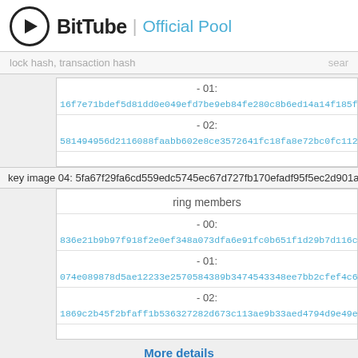BitTube | Official Pool
lock hash, transaction hash    sear
- 01:
16f7e71bdef5d81dd0e049efd7be9eb84fe280c8b6ed14a14f185f571961f1ae
- 02:
581494956d2116088faabb602e8ce3572641fc18fa8e72bc0fc1129200d6cefa
key image 04: 5fa67f29fa6cd559edc5745ec67d727fb170efadf95f5ec2d901aac
ring members
- 00:
836e21b9b97f918f2e0ef348a073dfa6e91fc0b651f1d29b7d116c1dbaa3578f
- 01:
074e089878d5ae12233e2570584389b3474543348ee7bb2cfef4c687f0b3f665
- 02:
1869c2b45f2bfaff1b536327282d673c113ae9b33aed4794d9e49e1334eb5f2a
More details